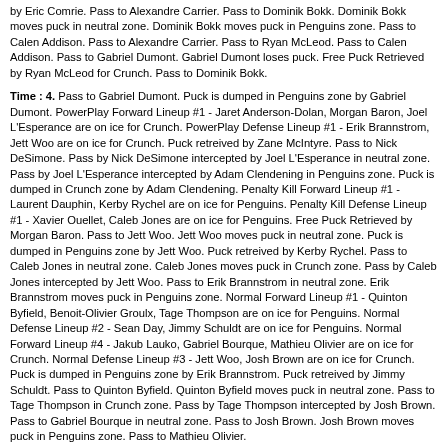by Eric Comrie. Pass to Alexandre Carrier. Pass to Dominik Bokk. Dominik Bokk moves puck in neutral zone. Dominik Bokk moves puck in Penguins zone. Pass to Calen Addison. Pass to Alexandre Carrier. Pass to Ryan McLeod. Pass to Calen Addison. Pass to Gabriel Dumont. Gabriel Dumont loses puck. Free Puck Retrieved by Ryan McLeod for Crunch. Pass to Dominik Bokk.
Time : 4. Pass to Gabriel Dumont. Puck is dumped in Penguins zone by Gabriel Dumont. PowerPlay Forward Lineup #1 - Jaret Anderson-Dolan, Morgan Baron, Joel L'Esperance are on ice for Crunch. PowerPlay Defense Lineup #1 - Erik Brannstrom, Jett Woo are on ice for Crunch. Puck retreived by Zane McIntyre. Pass to Nick DeSimone. Pass by Nick DeSimone intercepted by Joel L'Esperance in neutral zone. Pass by Joel L'Esperance intercepted by Adam Clendening in Penguins zone. Puck is dumped in Crunch zone by Adam Clendening. Penalty Kill Forward Lineup #1 - Laurent Dauphin, Kerby Rychel are on ice for Penguins. Penalty Kill Defense Lineup #1 - Xavier Ouellet, Caleb Jones are on ice for Penguins. Free Puck Retrieved by Morgan Baron. Pass to Jett Woo. Jett Woo moves puck in neutral zone. Puck is dumped in Penguins zone by Jett Woo. Puck retreived by Kerby Rychel. Pass to Caleb Jones in neutral zone. Caleb Jones moves puck in Crunch zone. Pass by Caleb Jones intercepted by Jett Woo. Pass to Erik Brannstrom in neutral zone. Erik Brannstrom moves puck in Penguins zone. Normal Forward Lineup #1 - Quinton Byfield, Benoit-Olivier Groulx, Tage Thompson are on ice for Penguins. Normal Defense Lineup #2 - Sean Day, Jimmy Schuldt are on ice for Penguins. Normal Forward Lineup #4 - Jakub Lauko, Gabriel Bourque, Mathieu Olivier are on ice for Crunch. Normal Defense Lineup #3 - Jett Woo, Josh Brown are on ice for Crunch. Puck is dumped in Penguins zone by Erik Brannstrom. Puck retreived by Jimmy Schuldt. Pass to Quinton Byfield. Quinton Byfield moves puck in neutral zone. Pass to Tage Thompson in Crunch zone. Pass by Tage Thompson intercepted by Josh Brown. Pass to Gabriel Bourque in neutral zone. Pass to Josh Brown. Josh Brown moves puck in Penguins zone. Pass to Mathieu Olivier.
Time : 5. Pass to Josh Brown. Pass to Mathieu Olivier. Pass to Gabriel Bourque. Pass to Jakub Lauko. Pass by Jakub Lauko intercepted by Benoit-Olivier Groulx. Pass to Tage Thompson in neutral zone. Tage Thompson moves puck in Crunch zone. Shot by Tage Thompson. Deflect By Quinton Byfield. Stopped by Eric Comrie with a rebound. Free Puck Retrieved by Josh Brown for Crunch. Pass by Josh Brown intercepted by Benoit-Olivier Groulx in neutral zone. Pass to Jimmy Schuldt. Jimmy Schuldt moves puck in Crunch zone. Jimmy Schuldt loses puck. Free Puck Retrieved by Gabriel Bourque for Crunch. Pass to Josh Brown in neutral zone. Josh Brown moves puck in Penguins zone. Puck is dumped in Penguins zone by Josh Brown. Normal Forward Lineup #3 - Shane Bowers, Timothy Gettinger, Dominik Bokk are on ice for Crunch. Normal Defense Lineup #2 - Jack